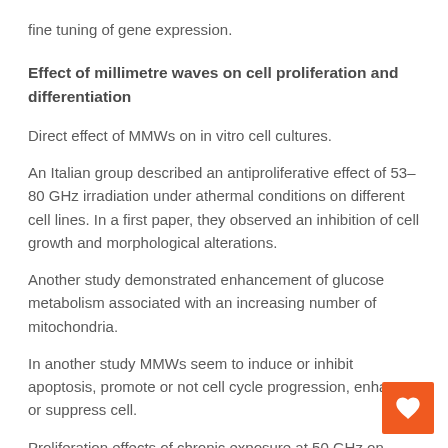fine tuning of gene expression.
Effect of millimetre waves on cell proliferation and differentiation
Direct effect of MMWs on in vitro cell cultures.
An Italian group described an antiproliferative effect of 53–80 GHz irradiation under athermal conditions on different cell lines. In a first paper, they observed an inhibition of cell growth and morphological alterations.
Another study demonstrated enhancement of glucose metabolism associated with an increasing number of mitochondria.
In another study MMWs seem to induce or inhibit apoptosis, promote or not cell cycle progression, enhance or suppress cell.
Proliferation effects of chronic exposure at 50 GHz on